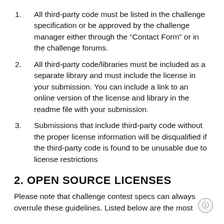All third-party code must be listed in the challenge specification or be approved by the challenge manager either through the “Contact Form” or in the challenge forums.
All third-party code/libraries must be included as a separate library and must include the license in your submission. You can include a link to an online version of the license and library in the readme file with your submission.
Submissions that include third-party code without the proper license information will be disqualified if the third-party code is found to be unusable due to license restrictions
2. OPEN SOURCE LICENSES
Please note that challenge contest specs can always overrule these guidelines. Listed below are the most